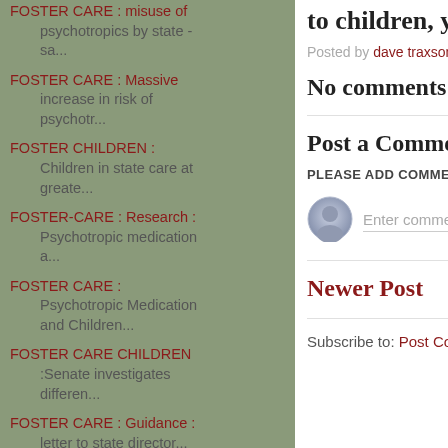FOSTER CARE : misuse of psychotropics by state - sa...
FOSTER CARE : Massive increase in risk of psychotr...
FOSTER CHILDREN : Children in state care at greate...
FOSTER-CARE : Research : Psychotropic medication a...
FOSTER CARE : Psychotropic Medication and Children...
FOSTER CARE CHILDREN :Senate investigates differen...
FOSTER CARE : Guidance : letter to state director...
HUMAN RIGHTS ARE FOR ALL! - Are We Not Human Being...
to children, youth
Posted by dave traxson a
No comments:
Post a Comment
PLEASE ADD COMMENT
Enter comme
Newer Post
Subscribe to: Post Comm